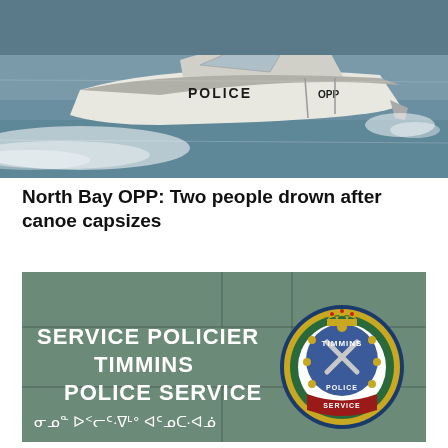[Figure (photo): OPP Police boat speeding on water with wake, white speedboat labeled POLICE and OPP]
North Bay OPP: Two people drown after canoe capsizes
[Figure (photo): Timmins Police Service sign on green wall with SERVICE POLICIER TIMMINS POLICE SERVICE in white lettering, Syllabics text below, and Timmins Police circular badge/crest on the right]